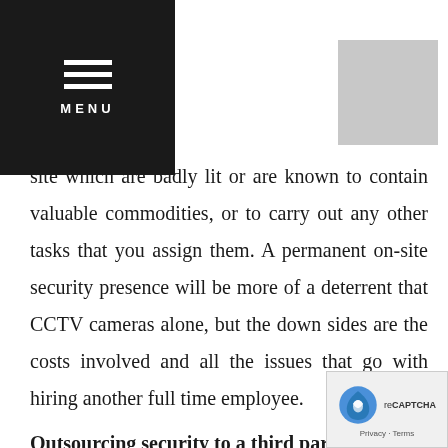MENU
site which are badly lit or are known to contain valuable commodities, or to carry out any other tasks that you assign them. A permanent on-site security presence will be more of a deterrent that CCTV cameras alone, but the down sides are the costs involved and all the issues that go with hiring another full time employee.
Outsourcing security to a third party.
More and more construction site owners are taking the option of outsourcing their security. The reason i... reputable security company can offer a wide ra...